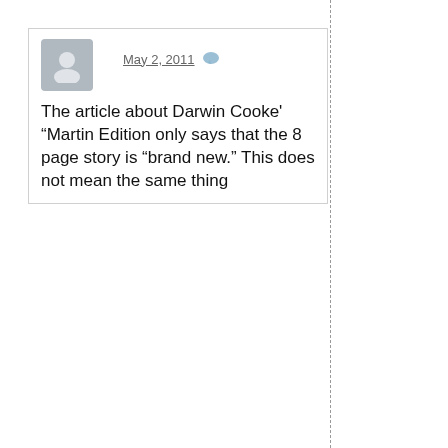May 2, 2011
The article about Darwin Cooke' “Martin Edition only says that the 8 page story is “brand new.” This does not mean the same thing